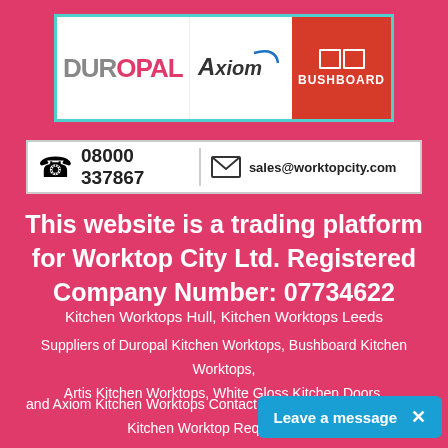[Figure (logo): Logo banner showing DUROPAL, Axiom, and BUSHBOARD brand logos side by side with a teal border]
[Figure (infographic): Contact bar with telephone icon, phone number 08000 337867, email icon, and email address sales@worktopcity.com]
This website is a trading platform for Worktop City Ltd. Registered Company Number: 07734622
Kitchen Worktops Hull, Kitchen Worktops Leeds
Suppliers of Duropal Kitchen Worktops, Bushboard Kitchen Worktops, Artis Kitchen Worktops, White Gloss Kitchen Doors.
and Axiom Kitchen Worktops Contact us for all of your Laminate Kitchen Worktop Requirements